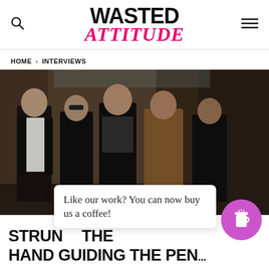WASTED ATTITUDE
HOME > INTERVIEWS
[Figure (photo): Five men standing in an urban alley, dressed in rock/casual style clothing including leather jackets]
Like our work? You can now buy us a coffee!
STRUN... THE HAND GUIDING THE PEN...